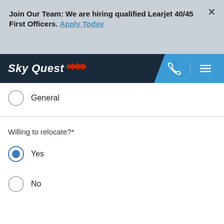Join Our Team: We are hiring qualified Learjet 40/45 First Officers. Apply Today
[Figure (logo): SkyQuest logo with red arrow icon on dark navy navigation bar with blue phone and menu icons]
General
Willing to relocate?*
Yes (selected)
No